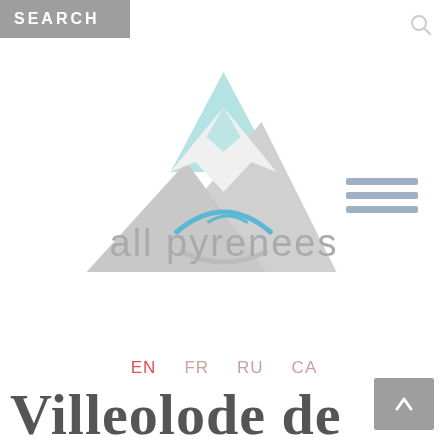SEARCH
[Figure (logo): All Pyrenees logo: mountain silhouette in grey with teal/light-blue peak, a blue smile arc below the peak, and 'all pyrenees' text in grey with a blue accent arc above the 'y' letter]
EN  FR  RU  CA
Villeolode de